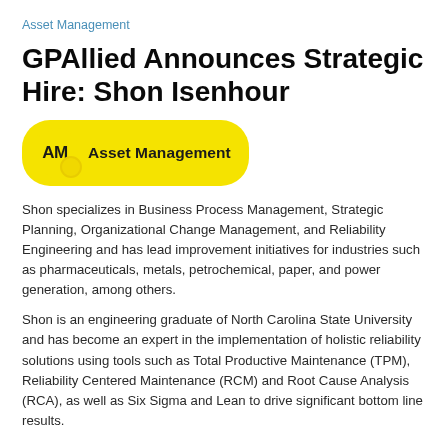Asset Management
GPAllied Announces Strategic Hire: Shon Isenhour
[Figure (logo): AM Asset Management logo — yellow rounded pill shape with 'AM' in bold and 'Asset Management' text]
Shon specializes in Business Process Management, Strategic Planning, Organizational Change Management, and Reliability Engineering and has lead improvement initiatives for industries such as pharmaceuticals, metals, petrochemical, paper, and power generation, among others.
Shon is an engineering graduate of North Carolina State University and has become an expert in the implementation of holistic reliability solutions using tools such as Total Productive Maintenance (TPM), Reliability Centered Maintenance (RCM) and Root Cause Analysis (RCA), as well as Six Sigma and Lean to drive significant bottom line results.